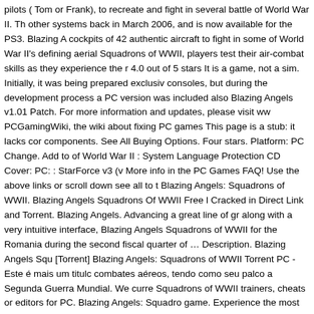pilots ( Tom or Frank), to recreate and fight in several battle of World War II. Th other systems back in March 2006, and is now available for the PS3. Blazing A cockpits of 42 authentic aircraft to fight in some of World War II's defining aerial Squadrons of WWII, players test their air-combat skills as they experience the r 4.0 out of 5 stars It is a game, not a sim. Initially, it was being prepared exclusiv consoles, but during the development process a PC version was included also Blazing Angels v1.01 Patch. For more information and updates, please visit ww PCGamingWiki, the wiki about fixing PC games This page is a stub: it lacks cor components. See All Buying Options. Four stars. Platform: PC Change. Add to of World War II : System Language Protection CD Cover: PC: : StarForce v3 (v More info in the PC Games FAQ! Use the above links or scroll down see all to t Blazing Angels: Squadrons of WWII. Blazing Angels Squadrons Of WWII Free l Cracked in Direct Link and Torrent. Blazing Angels. Advancing a great line of gr along with a very intuitive interface, Blazing Angels Squadrons of WWII for the Romania during the second fiscal quarter of … Description. Blazing Angels Squ [Torrent] Blazing Angels: Squadrons of WWII Torrent PC - Este é mais um titulc combates aéreos, tendo como seu palco a Segunda Guerra Mundial. We curre Squadrons of WWII trainers, cheats or editors for PC. Blazing Angels: Squadro game. Experience the most gripping and famous battles of WWII through the ey ace fighter pilot. From the Battle of Britain to the invasion of the Philippines, to t will create WWII … by Ubisoft. Write a review. Blazing Angels: Squadrons of W for the PC, Xbox, Xbox 360, PlayStation 3 and Wii. Blazing Angels Squadrons c release in March 2006. From the Battle of Britain to the invasion of the Philippi skills will create WWII history. Blazing Angels: Squadrons of WWII is yet anothe War II games. Download the manual for this game by locating the game on http